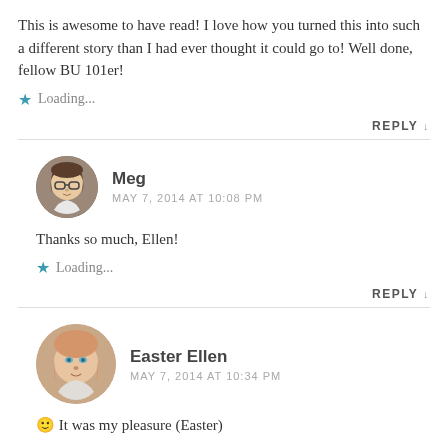This is awesome to have read! I love how you turned this into such a different story than I had ever thought it could go to! Well done, fellow BU 101er!
Loading...
REPLY ↓
Meg
MAY 7, 2014 AT 10:08 PM
Thanks so much, Ellen!
Loading...
REPLY ↓
Easter Ellen
MAY 7, 2014 AT 10:34 PM
🙂 It was my pleasure (Easter)
Loading...